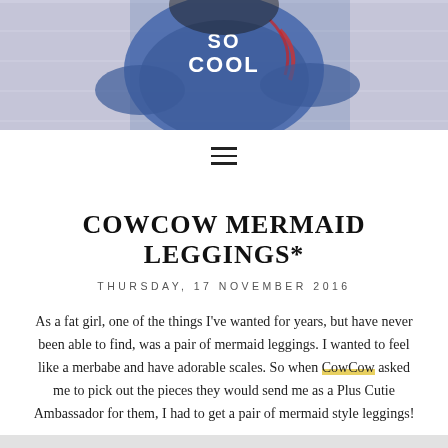[Figure (photo): Top portion of blog page showing a person wearing a denim jacket with 'So Cool' text, lavender background]
[Figure (other): Hamburger menu icon (three horizontal lines)]
COWCOW MERMAID LEGGINGS*
THURSDAY, 17 NOVEMBER 2016
As a fat girl, one of the things I've wanted for years, but have never been able to find, was a pair of mermaid leggings. I wanted to feel like a merbabe and have adorable scales. So when CowCow asked me to pick out the pieces they would send me as a Plus Cutie Ambassador for them, I had to get a pair of mermaid style leggings!
[Figure (photo): Bottom cropped photo showing dark leggings or clothing item on a grey background]